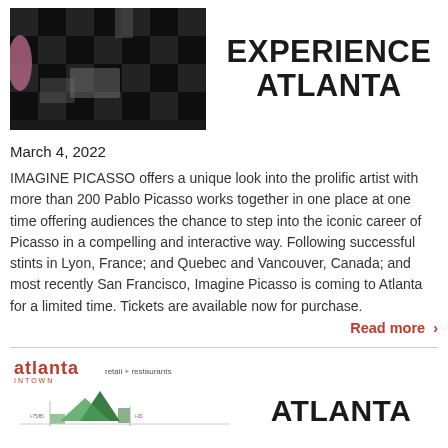[Figure (photo): Overhead view of a checkered black and white floor with artwork pieces and a person partially visible, with a pink umbrella visible at left edge]
EXPERIENCE ATLANTA
March 4, 2022
IMAGINE PICASSO offers a unique look into the prolific artist with more than 200 Pablo Picasso works together in one place at one time offering audiences the chance to step into the iconic career of Picasso in a compelling and interactive way. Following successful stints in Lyon, France; and Quebec and Vancouver, Canada; and most recently San Francisco, Imagine Picasso is coming to Atlanta for a limited time. Tickets are available now for purchase.
Read more ›
[Figure (logo): Atlanta Intown logo with red text and a green pyramid/building graphic below, with 'retail + restaurants' label]
ATLANTA